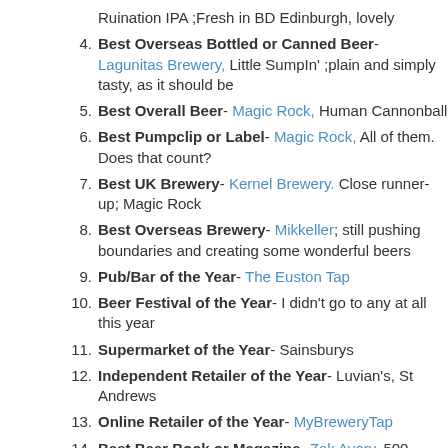Ruination IPA ;Fresh in BD Edinburgh, lovely
4. Best Overseas Bottled or Canned Beer- Lagunitas Brewery, Little SumpIn' ;plain and simply tasty, as it should be
5. Best Overall Beer- Magic Rock, Human Cannonball
6. Best Pumpclip or Label- Magic Rock, All of them. Does that count?
7. Best UK Brewery- Kernel Brewery. Close runner-up; Magic Rock
8. Best Overseas Brewery- Mikkeller; still pushing boundaries and creating some wonderful beers
9. Pub/Bar of the Year- The Euston Tap
10. Beer Festival of the Year- I didn't go to any at all this year
11. Supermarket of the Year- Sainsburys
12. Independent Retailer of the Year- Luvian's, St Andrews
13. Online Retailer of the Year- MyBreweryTap
14. Best Beer Book or Magazine- Zak Avery, 500 Beers
15. Best Beer Blog or Website- Pencil and Spoon, Mark